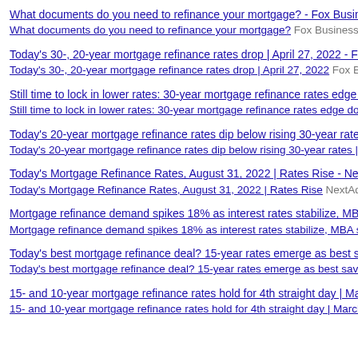What documents do you need to refinance your mortgage? - Fox Business
What documents do you need to refinance your mortgage? Fox Business
Today's 30-, 20-year mortgage refinance rates drop | April 27, 2022 - Fox Business
Today's 30-, 20-year mortgage refinance rates drop | April 27, 2022 Fox Business
Still time to lock in lower rates: 30-year mortgage refinance rates edge down | Ma...
Still time to lock in lower rates: 30-year mortgage refinance rates edge down | Ma...
Today's 20-year mortgage refinance rates dip below rising 30-year rates | April 8,...
Today's 20-year mortgage refinance rates dip below rising 30-year rates | April 8,...
Today's Mortgage Refinance Rates, August 31, 2022 | Rates Rise - NextAdvisor
Today's Mortgage Refinance Rates, August 31, 2022 | Rates Rise NextAdvisor
Mortgage refinance demand spikes 18% as interest rates stabilize, MBA says - Fo...
Mortgage refinance demand spikes 18% as interest rates stabilize, MBA says Fo...
Today's best mortgage refinance deal? 15-year rates emerge as best savings op...
Today's best mortgage refinance deal? 15-year rates emerge as best savings op...
15- and 10-year mortgage refinance rates hold for 4th straight day | March 18, 20...
15- and 10-year mortgage refinance rates hold for 4th straight day | March 18, 20...